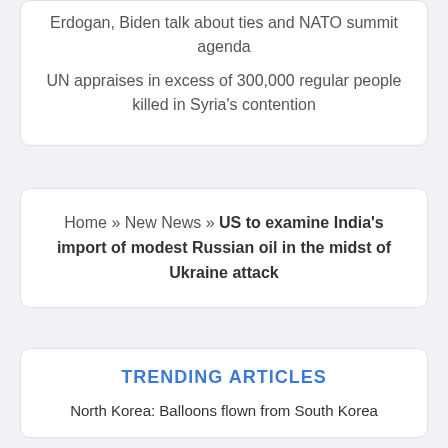Erdogan, Biden talk about ties and NATO summit agenda
UN appraises in excess of 300,000 regular people killed in Syria's contention
Home » New News » US to examine India's import of modest Russian oil in the midst of Ukraine attack
TRENDING ARTICLES
North Korea: Balloons flown from South Korea